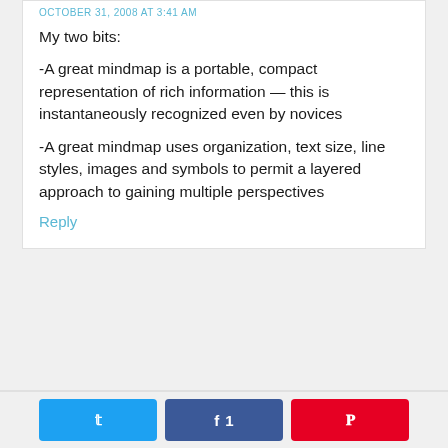OCTOBER 31, 2008 AT 3:41 AM
My two bits:
-A great mindmap is a portable, compact representation of rich information — this is instantaneously recognized even by novices
-A great mindmap uses organization, text size, line styles, images and symbols to permit a layered approach to gaining multiple perspectives
Reply